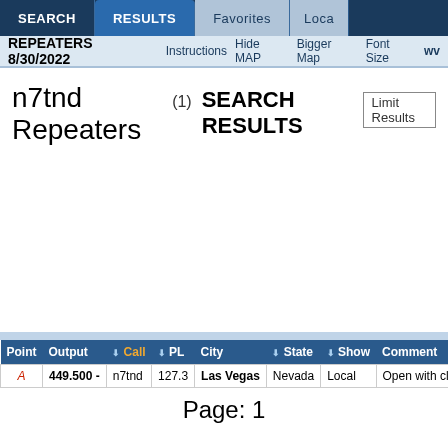SEARCH | RESULTS | Favorites | Loca
REPEATERS 8/30/2022  Instructions  Hide MAP  Bigger Map  Font Size  wv
n7tnd Repeaters (1) SEARCH RESULTS  Limit Results
| Point | Output | Call | PL | City | State | Show | Comment |
| --- | --- | --- | --- | --- | --- | --- | --- |
| A | 449.500 - | n7tnd | 127.3 | Las Vegas | Nevada | Local | Open with clos |
Page: 1